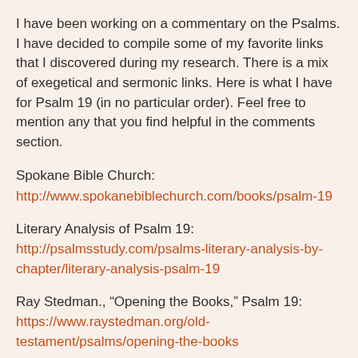I have been working on a commentary on the Psalms. I have decided to compile some of my favorite links that I discovered during my research. There is a mix of exegetical and sermonic links. Here is what I have for Psalm 19 (in no particular order). Feel free to mention any that you find helpful in the comments section.
Spokane Bible Church: http://www.spokanebiblechurch.com/books/psalm-19
Literary Analysis of Psalm 19: http://psalmsstudy.com/psalms-literary-analysis-by-chapter/literary-analysis-psalm-19
Ray Stedman., “Opening the Books,” Psalm 19: https://www.raystedman.org/old-testament/psalms/opening-the-books